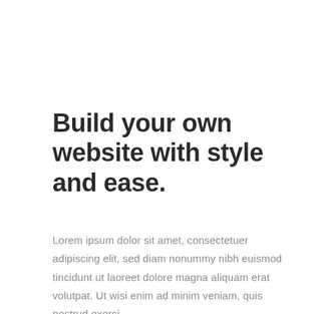Build your own website with style and ease.
Lorem ipsum dolor sit amet, consectetuer adipiscing elit, sed diam nonummy nibh euismod tincidunt ut laoreet dolore magna aliquam erat volutpat. Ut wisi enim ad minim veniam, quis nostrud exerci